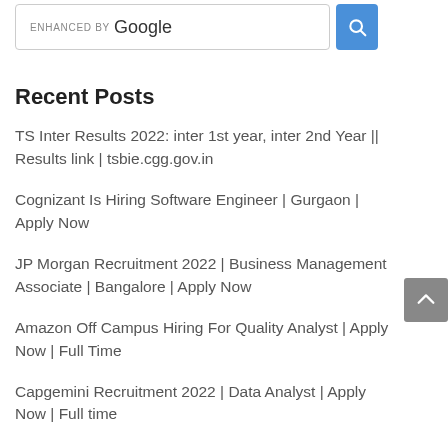[Figure (screenshot): Google search bar with 'ENHANCED BY Google' text and blue search button]
Recent Posts
TS Inter Results 2022: inter 1st year, inter 2nd Year || Results link | tsbie.cgg.gov.in
Cognizant Is Hiring Software Engineer | Gurgaon | Apply Now
JP Morgan Recruitment 2022 | Business Management Associate | Bangalore | Apply Now
Amazon Off Campus Hiring For Quality Analyst | Apply Now | Full Time
Capgemini Recruitment 2022 | Data Analyst | Apply Now | Full time